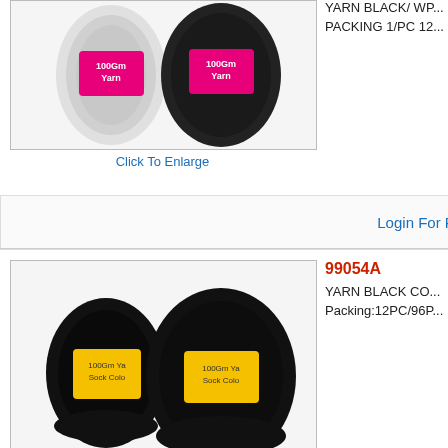[Figure (photo): Two skeins of 100Gm yarn with pink label, white and black colors]
Click To Enlarge
YARN BLACK/ WH... PACKING 1/PC 12...
Login For Price
99054A
[Figure (photo): Two skeins of black yarn with yellow label, 100Gm Sock Color]
Click To Enlarge
YARN BLACK CO... Packing:12PC/96P...
Login For Price
99054C
[Figure (photo): Two skeins of brown yarn with label, 100Gm Yarn Brown Color]
YARN BROWN CO... Packing:12PC/96P...